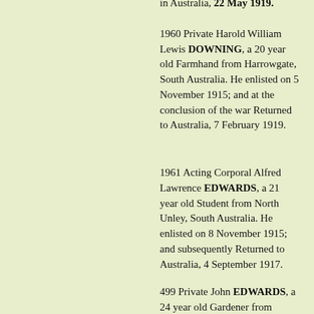in Australia, 22 May 1919.
1960 Private Harold William Lewis DOWNING, a 20 year old Farmhand from Harrowgate, South Australia. He enlisted on 5 November 1915; and at the conclusion of the war Returned to Australia, 7 February 1919.
1961 Acting Corporal Alfred Lawrence EDWARDS, a 21 year old Student from North Unley, South Australia. He enlisted on 8 November 1915; and subsequently Returned to Australia, 4 September 1917.
499 Private John EDWARDS, a 24 year old Gardener from Roberts Town, South Australia. He enlisted on 4 October 1914; and at the conclusion of the war Returned to Australia, 10 July 1919.
1962 Private Eric Raynor Vivian ELMS, a 21 year old French